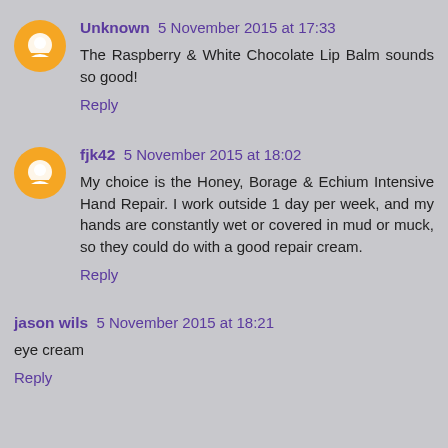Unknown 5 November 2015 at 17:33
The Raspberry & White Chocolate Lip Balm sounds so good!
Reply
fjk42 5 November 2015 at 18:02
My choice is the Honey, Borage & Echium Intensive Hand Repair. I work outside 1 day per week, and my hands are constantly wet or covered in mud or muck, so they could do with a good repair cream.
Reply
jason wils 5 November 2015 at 18:21
eye cream
Reply